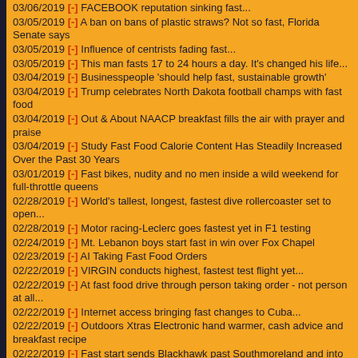03/06/2019 [-] FACEBOOK reputation sinking fast...
03/05/2019 [-] A ban on bans of plastic straws? Not so fast, Florida Senate says
03/05/2019 [-] Influence of centrists fading fast...
03/05/2019 [-] This man fasts 17 to 24 hours a day. It's changed his life...
03/04/2019 [-] Businesspeople 'should help fast, sustainable growth'
03/04/2019 [-] Trump celebrates North Dakota football champs with fast food
03/04/2019 [-] Out & About NAACP breakfast fills the air with prayer and praise
03/04/2019 [-] Study Fast Food Calorie Content Has Steadily Increased Over the Past 30 Years
03/01/2019 [-] Fast bikes, nudity and no men inside a wild weekend for full-throttle queens
02/28/2019 [-] World's tallest, longest, fastest dive rollercoaster set to open...
02/28/2019 [-] Motor racing-Leclerc goes fastest yet in F1 testing
02/24/2019 [-] Mt. Lebanon boys start fast in win over Fox Chapel
02/23/2019 [-] AI Taking Fast Food Orders
02/22/2019 [-] VIRGIN conducts highest, fastest test flight yet...
02/22/2019 [-] At fast food drive through person taking order - not person at all...
02/22/2019 [-] Internet access bringing fast changes to Cuba...
02/22/2019 [-] Outdoors Xtras Electronic hand warmer, cash advice and breakfast recipe
02/22/2019 [-] Fast start sends Blackhawk past Southmoreland and into WPIAL 4A semifinals
02/21/2019 [-] 17 people homeless after fast-spreading McKees